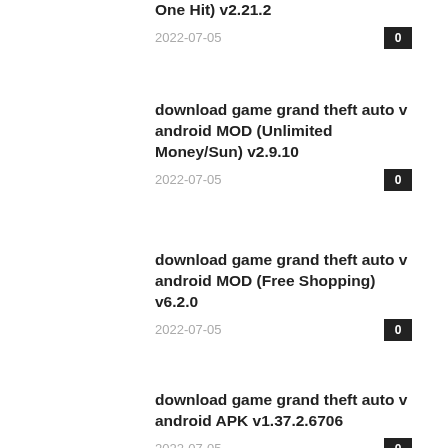One Hit) v2.21.2
2022-07-05
download game grand theft auto v android MOD (Unlimited Money/Sun) v2.9.10
2022-07-05
download game grand theft auto v android MOD (Free Shopping) v6.2.0
2022-07-05
download game grand theft auto v android APK v1.37.2.6706
2022-07-05